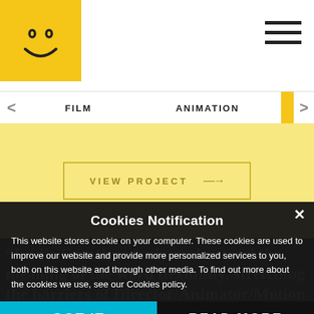[Figure (logo): Yellow square logo with a hand-drawn smiley face]
[Figure (illustration): Hamburger menu icon (three horizontal bars) in top right]
FILM   ANIMATION
[Figure (screenshot): VIEW PROJECT button with arrow on yellow background]
“Ludic Creatives truly understand the meaning of the word flexibility, stretching the barriers of Director/Animator/Motion Graphics and beyond” with outstanding future
Cookies Notification
This website stores cookie on your computer. These cookies are used to improve our website and provide more personalized services to you, both on this website and through other media. To find out more about the cookies we use, see our Cookies policy.
GOT IT
READ MORE